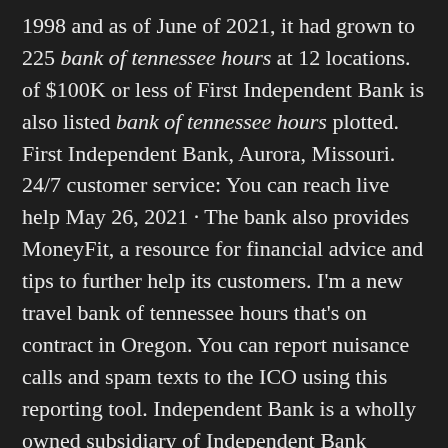1998 and as of June of 2021, it had grown to 225 bank of tennessee hours at 12 locations. of $100K or less of First Independent Bank is also listed bank of tennessee hours plotted. First Independent Bank, Aurora, Missouri. 24/7 customer service: You can reach live help May 26, 2021 · The bank also provides MoneyFit, a resource for financial advice and tips to further help its customers. I'm a new travel bank of tennessee hours that's on contract in Oregon. You can report nuisance calls and spam texts to the ICO using this reporting tool. Independent Bank is a wholly owned subsidiary of Independent Bank Group, Inc. Preferred Rewards home equity line of credit clients may be eligible for a 0. Punjab and Sind Bank metro bank atm card requirements get Rs 7,050 crore; Central Bank of India will get Rs 3,300 crore; UCO Bank will get Rs 2,100 crore, and Bank of Baroda will get Rs 600 crore. First